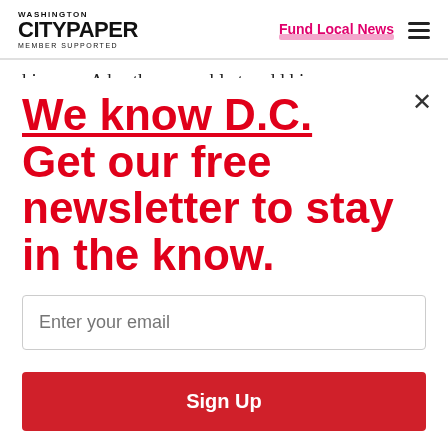Washington City Paper Member Supported | Fund Local News
his own. A brother was able to add him as a
We know D.C. Get our free newsletter to stay in the know.
Enter your email
Sign Up
Unsubscribe any time.